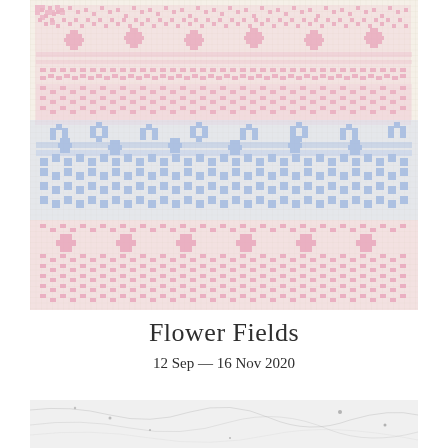[Figure (illustration): A cross-stitch or needlepoint pattern chart on grid paper showing floral designs. The upper portion features pink floral/scroll patterns on a cream grid background, the middle band shows blue floral/blossom patterns, and the lower portion returns to pink floral patterns. The overall effect resembles a knitting or embroidery pattern chart.]
Flower Fields
12 Sep — 16 Nov 2020
[Figure (photo): A partial view of a second image at the bottom of the page, appearing to show a light-colored surface with some scattered dark marks or debris, possibly a marble or stone texture.]